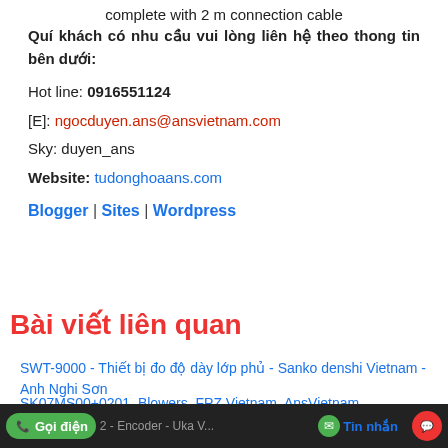complete with 2 m connection cable
Quí khách có nhu cầu vui lòng liên hệ theo thong tin bên dưới:
Hot line: 0916551124
[E]: ngocduyen.ans@ansvietnam.com
Sky: duyen_ans
Website: tudonghoaans.com
Blogger | Sites | Wordpress
Bài viết liên quan
SWT-9000 - Thiết bị đo độ dày lớp phủ - Sanko denshi Vietnam - Anh Nghi Sơn
SK07MS00+0201, Blowers, FPZ Vietnam, AnsVietnam
P131-4B0-V17- Thiết bị đo áp suất - Noding Vietnam - Anh Nghi Sơn
ES5... Gọi điện ...2 - Encoder - Uka V... Tin nhắn BT...